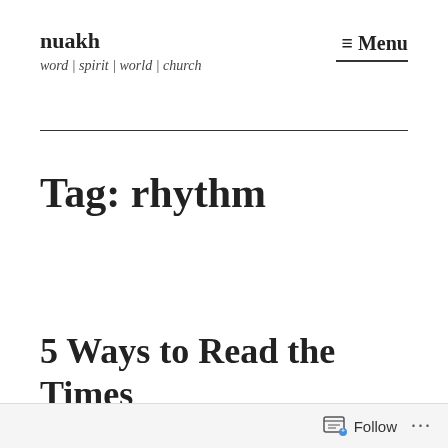nuakh
word | spirit | world | church
≡ Menu
Tag: rhythm
5 Ways to Read the Times
July 25, 2022